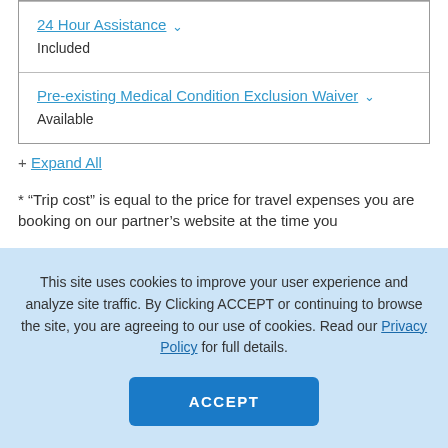| 24 Hour Assistance | Included |
| Pre-existing Medical Condition Exclusion Waiver | Available |
+ Expand All
* “Trip cost” is equal to the price for travel expenses you are booking on our partner’s website at the time you
This site uses cookies to improve your user experience and analyze site traffic. By Clicking ACCEPT or continuing to browse the site, you are agreeing to our use of cookies. Read our Privacy Policy for full details.